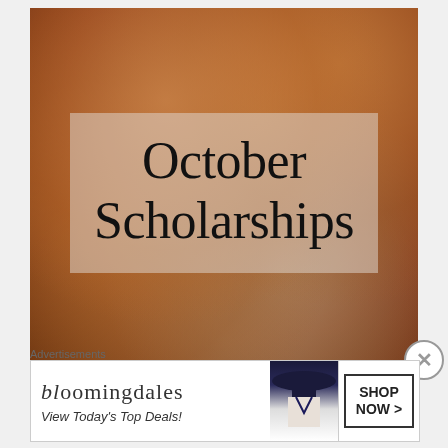[Figure (photo): Close-up photo of scattered coins (pennies, quarters, and other US coins) with a warm reddish-brown tonal overlay. On top of the coins photo is a semi-transparent light box containing the text 'October Scholarships' in large dark serif font.]
October Scholarships
Advertisements
[Figure (photo): Bloomingdale's advertisement banner. Shows 'bloomingdales' logo in stylized serif font, tagline 'View Today's Top Deals!', a photo of a woman wearing a wide-brim hat, and a 'SHOP NOW >' button in a box.]